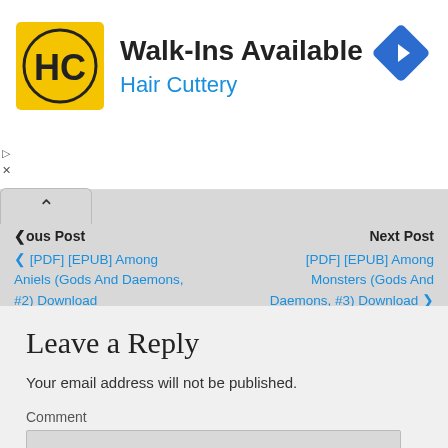[Figure (logo): Hair Cuttery advertisement banner with HC logo, text 'Walk-Ins Available' and 'Hair Cuttery', and a navigation arrow icon]
‹ ous Post    Next Post
[PDF] [EPUB] Among Aniels (Gods And Daemons, #2) Download
[PDF] [EPUB] Among Monsters (Gods And Daemons, #3) Download
Leave a Reply
Your email address will not be published.
Comment